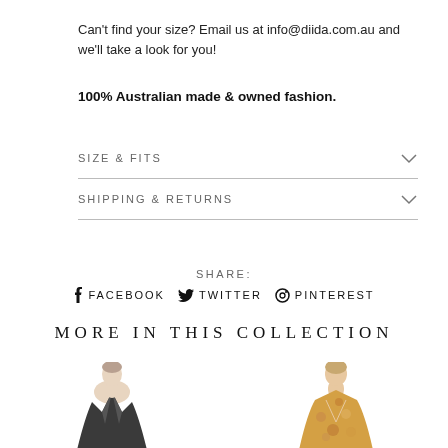Can't find your size? Email us at info@diida.com.au and we'll take a look for you!
100% Australian made & owned fashion.
SIZE & FITS
SHIPPING & RETURNS
SHARE:
f FACEBOOK  TWITTER  PINTEREST
MORE IN THIS COLLECTION
[Figure (photo): Two product photos showing fashion garments - a dark blazer and a floral/patterned top]